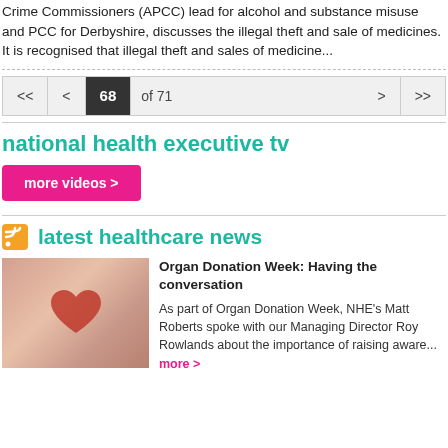Crime Commissioners (APCC) lead for alcohol and substance misuse and PCC for Derbyshire, discusses the illegal theft and sale of medicines. It is recognised that illegal theft and sales of medicine...
<< < 68 of 71 > >>
national health executive tv
more videos >
latest healthcare news
[Figure (photo): Hands cupping a red heart shape, representing organ donation.]
Organ Donation Week: Having the conversation
As part of Organ Donation Week, NHE's Matt Roberts spoke with our Managing Director Roy Rowlands about the importance of raising aware... more >